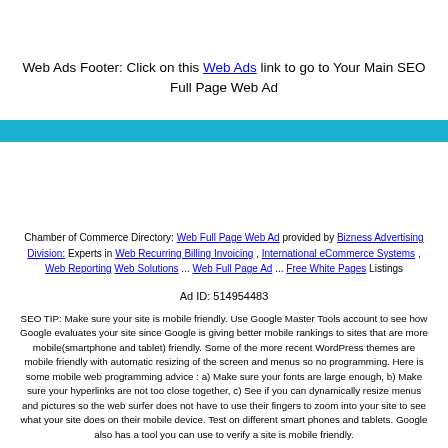Web Ads Footer: Click on this Web Ads link to go to Your Main SEO Full Page Web Ad
[Figure (other): Solid teal/cyan horizontal banner bar]
Chamber of Commerce Directory: Web Full Page Web Ad provided by Bizness Advertising Division: Experts in Web Recurring Billing Invoicing , International eCommerce Systems , Web Reporting Web Solutions ... Web Full Page Ad ... Free White Pages Listings
Ad ID: 514954483
SEO TIP: Make sure your site is mobile friendly. Use Google Master Tools account to see how Google evaluates your site since Google is giving better mobile rankings to sites that are more mobile(smartphone and tablet) friendly. Some of the more recent WordPress themes are mobile friendly with automatic resizing of the screen and menus so no programming. Here is some mobile web programming advice : a) Make sure your fonts are large enough, b) Make sure your hyperlinks are not too close together, c) See if you can dynamically resize menus and pictures so the web surfer does not have to use their fingers to zoom into your site to see what your site does on their mobile device. Test on different smart phones and tablets. Google also has a tool you can use to verify a site is mobile friendly.